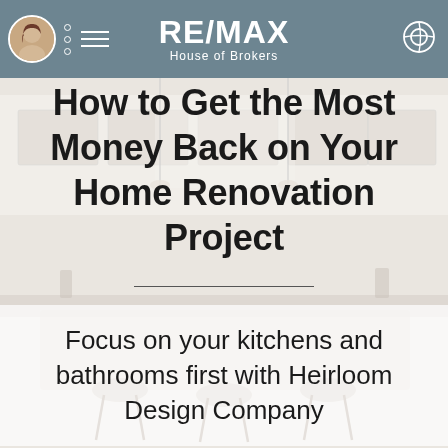RE/MAX House of Brokers
How to Get the Most Money Back on Your Home Renovation Project
Focus on your kitchens and bathrooms first with Heirloom Design Company